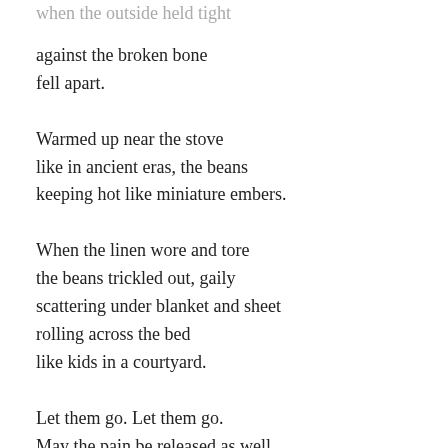when the outside held tight
against the broken bone
fell apart.
Warmed up near the stove
like in ancient eras, the beans
keeping hot like miniature embers.
When the linen wore and tore
the beans trickled out, gaily
scattering under blanket and sheet
rolling across the bed
like kids in a courtyard.
Let them go. Let them go.
May the pain be released as well
she sighed